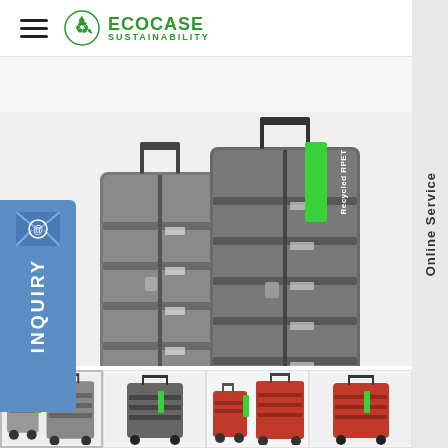ECOCASE SUSTAINABILITY
[Figure (photo): Two hardshell spinner suitcases in dark grey/silver color with a green 'Recycled RPET' label tag, shown against white background]
[Figure (photo): Thumbnail 1: Two small silver/grey hardshell suitcases with green tag, selected/active state]
[Figure (photo): Thumbnail 2: Single dark grey hardshell suitcase with green tag]
[Figure (photo): Thumbnail 3: Two red hardshell suitcases with green tag]
[Figure (photo): Thumbnail 4: Single red hardshell suitcase with green tag]
Online Service
INQUIRY